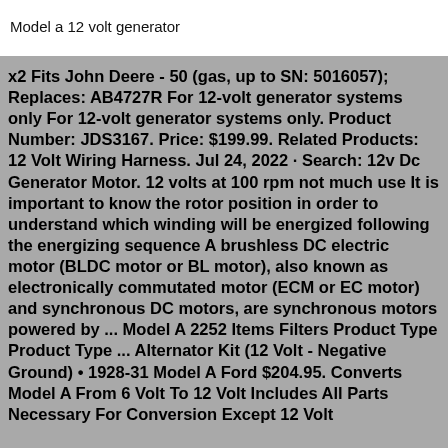Model a 12 volt generator
x2 Fits John Deere - 50 (gas, up to SN: 5016057); Replaces: AB4727R For 12-volt generator systems only For 12-volt generator systems only. Product Number: JDS3167. Price: $199.99. Related Products: 12 Volt Wiring Harness. Jul 24, 2022 · Search: 12v Dc Generator Motor. 12 volts at 100 rpm not much use It is important to know the rotor position in order to understand which winding will be energized following the energizing sequence A brushless DC electric motor (BLDC motor or BL motor), also known as electronically commutated motor (ECM or EC motor) and synchronous DC motors, are synchronous motors powered by ... Model A 2252 Items Filters Product Type Product Type ... Alternator Kit (12 Volt - Negative Ground) • 1928-31 Model A Ford $204.95. Converts Model A From 6 Volt To 12 Volt Includes All Parts Necessary For Conversion Except 12 Volt